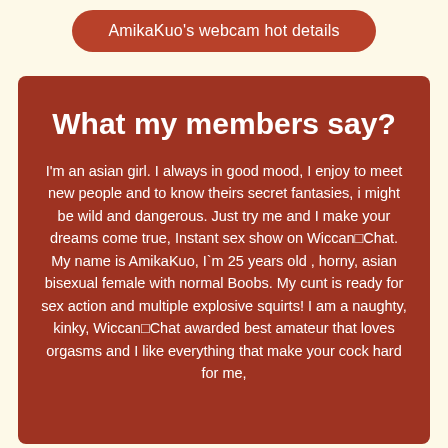AmikaKuo's webcam hot details
What my members say?
I'm an asian girl. I always in good mood, I enjoy to meet new people and to know theirs secret fantasies, i might be wild and dangerous. Just try me and I make your dreams come true, Instant sex show on Wiccan■Chat. My name is AmikaKuo, I`m 25 years old , horny, asian bisexual female with normal Boobs. My cunt is ready for sex action and multiple explosive squirts! I am a naughty, kinky, Wiccan■Chat awarded best amateur that loves orgasms and I like everything that make your cock hard for me,